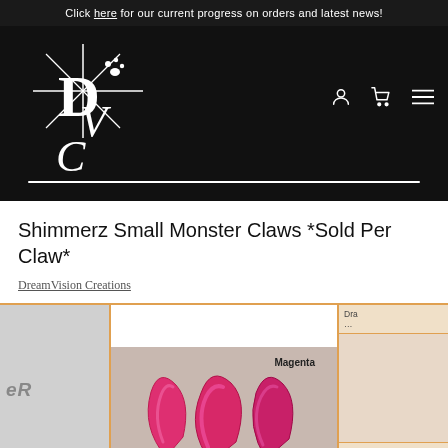Click here for our current progress on orders and latest news!
[Figure (logo): DreamVision Creations logo — stylized D, V, C letters with paw print, white on black background]
Shimmerz Small Monster Claws *Sold Per Claw*
DreamVision Creations
[Figure (photo): Product image carousel showing Shimmerz Small Monster Claws. Center image shows magenta/pink shiny monster claws on a light background, labeled 'Magenta'. Left and right edges show partial neighboring product images.]